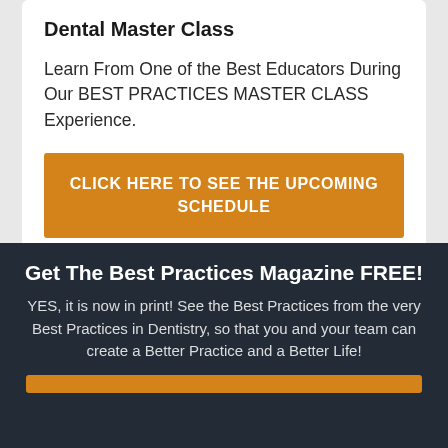Dental Master Class
Learn From One of the Best Educators During Our BEST PRACTICES MASTER CLASS Experience.
CLICK HERE TO SEE THE UPCOMING SCHEDULE
Get The Best Practices Magazine FREE!
YES, it is now in print!  See the Best Practices from the very Best Practices in Dentistry, so that you and your team can create a Better Practice and a Better Life!